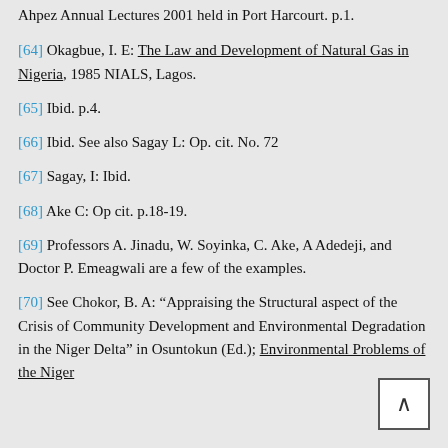Ahpez Annual Lectures 2001 held in Port Harcourt. p.1.
[64] Okagbue, I. E: The Law and Development of Natural Gas in Nigeria, 1985 NIALS, Lagos.
[65] Ibid. p.4.
[66] Ibid. See also Sagay L: Op. cit. No. 72
[67] Sagay, I: Ibid.
[68] Ake C: Op cit. p.18-19.
[69] Professors A. Jinadu, W. Soyinka, C. Ake, A Adedeji, and Doctor P. Emeagwali are a few of the examples.
[70] See Chokor, B. A: “Appraising the Structural aspect of the Crisis of Community Development and Environmental Degradation in the Niger Delta” in Osuntokun (Ed.); Environmental Problems of the Niger Delta, Entaigle, Firm Foundation 2000.